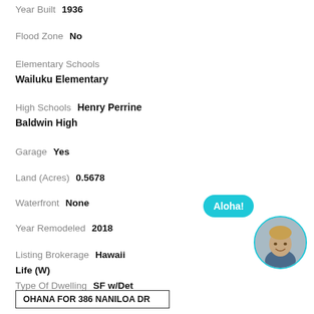Year Built  1936
Flood Zone  No
Elementary Schools  Wailuku Elementary
High Schools  Henry Perrine Baldwin High
Garage  Yes
Land (Acres)  0.5678
Waterfront  None
Year Remodeled  2018
Listing Brokerage  Hawaii Life (W)
Type Of Dwelling  SF w/Det Ohana or Cottage
County Data  Click Here
OHANA FOR 386 NANILOA DR
[Figure (photo): Chat bubble saying Aloha! in teal, and a circular agent photo of a smiling person]